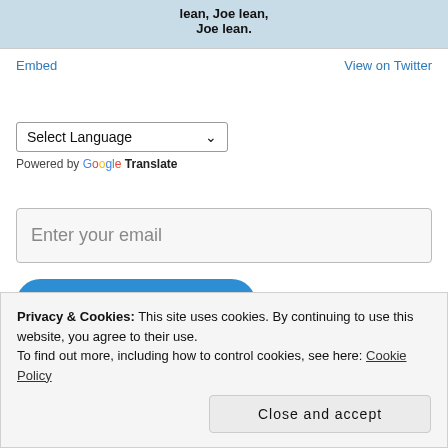[Figure (screenshot): Cropped top portion of a Twitter embed image showing text 'lean, Joe lean, Joe lean.' with blue background and people visible.]
Embed
View on Twitter
Select Language
Powered by Google Translate
Enter your email
JOIN MY EMAIL LIST
Privacy & Cookies: This site uses cookies. By continuing to use this website, you agree to their use.
To find out more, including how to control cookies, see here: Cookie Policy
Close and accept